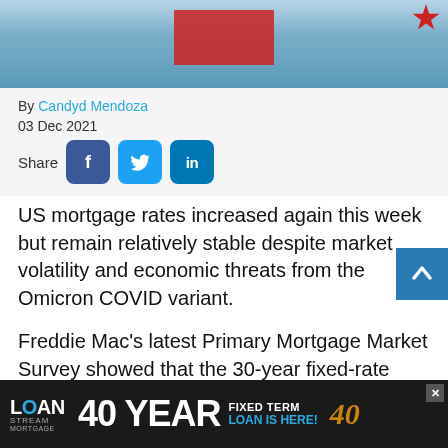[Figure (illustration): Hero image with blue/teal background, red rectangular box in center, red starburst in top right corner, suggesting financial stress or COVID impact on mortgage market]
By Candyd Mendoza
03 Dec 2021
Share [Facebook] [Twitter] [LinkedIn]
US mortgage rates increased again this week but remain relatively stable despite market volatility and economic threats from the Omicron COVID variant.
Freddie Mac's latest Primary Mortgage Market Survey showed that the 30-year fixed-rate mortgage averaged 3.11% in the week ending Dec. 2, more than last week
[Figure (screenshot): Advertisement banner for Loan Stream Mortgage: '40 YEAR FIXED TERM LOAN IS HERE!' with dark background]